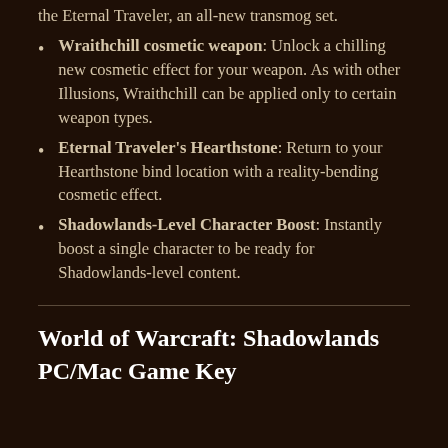the Eternal Traveler, an all-new transmog set.
Wraithchill cosmetic weapon: Unlock a chilling new cosmetic effect for your weapon. As with other Illusions, Wraithchill can be applied only to certain weapon types.
Eternal Traveler's Hearthstone: Return to your Hearthstone bind location with a reality-bending cosmetic effect.
Shadowlands-Level Character Boost: Instantly boost a single character to be ready for Shadowlands-level content.
World of Warcraft: Shadowlands PC/Mac Game Key